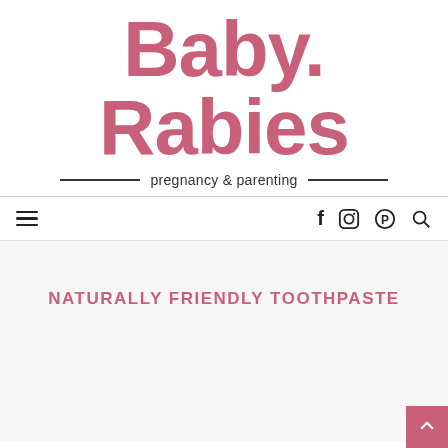[Figure (logo): BabyRabies logo in large bold pink rounded font, two lines: 'Baby.' on top and 'Rabies' on bottom]
pregnancy & parenting
[Figure (infographic): Navigation bar with hamburger menu icon on left and social icons (Facebook, Instagram, Pinterest, Search) on right]
NATURALLY FRIENDLY TOOTHPASTE
[Figure (other): Pink back-to-top arrow button in bottom right corner]